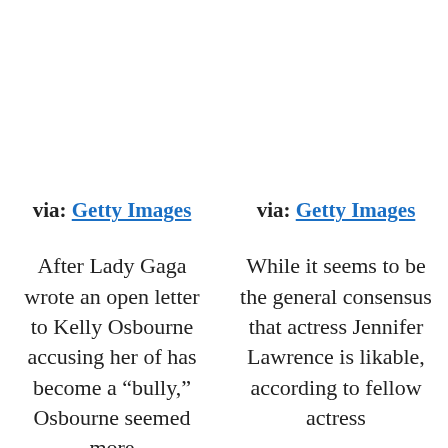via: Getty Images
via: Getty Images
After Lady Gaga wrote an open letter to Kelly Osbourne accusing her of has become a “bully,” Osbourne seemed more
While it seems to be the general consensus that actress Jennifer Lawrence is likable, according to fellow actress